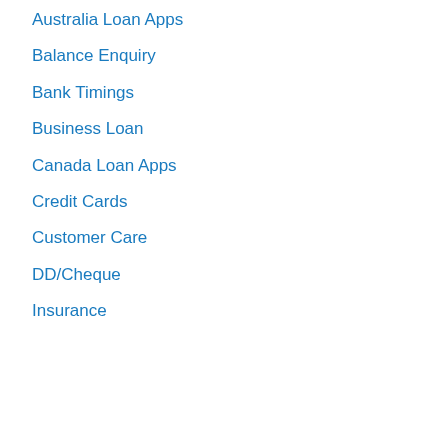Australia Loan Apps
Balance Enquiry
Bank Timings
Business Loan
Canada Loan Apps
Credit Cards
Customer Care
DD/Cheque
Insurance